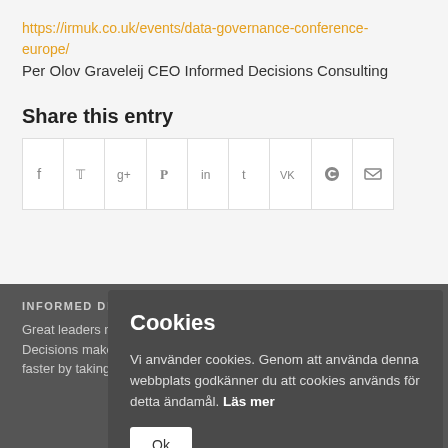https://irmuk.co.uk/events/data-governance-conference-europe/
Per Olov Graveleij CEO Informed Decisions Consulting
Share this entry
[Figure (infographic): Social media share buttons bar with icons: Facebook, Twitter, Google+, Pinterest, LinkedIn, Tumblr, VK, Reddit, Email]
Cookies
Vi använder cookies. Genom att använda denna webbplats godkänner du att cookies används för detta ändamål. Läs mer
Ok
INFORMED D...
Great leaders m... Decisions make... faster by taking right decisions using our experience and top